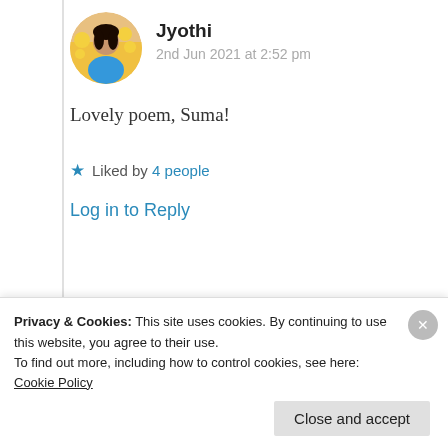[Figure (photo): Circular avatar photo of Jyothi, a woman in a blue top with flowers in the background]
Jyothi
2nd Jun 2021 at 2:52 pm
Lovely poem, Suma!
★ Liked by 4 people
Log in to Reply
[Figure (photo): Circular avatar photo of Suma Reddy]
Suma Reddy
Privacy & Cookies: This site uses cookies. By continuing to use this website, you agree to their use. To find out more, including how to control cookies, see here: Cookie Policy
Close and accept